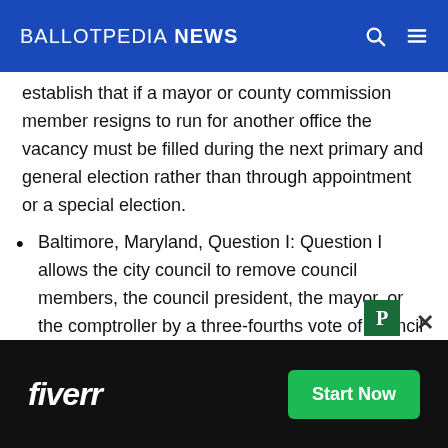BALLOTPEDIA NEWS
establish that if a mayor or county commission member resigns to run for another office the vacancy must be filled during the next primary and general election rather than through appointment or a special election.
Baltimore, Maryland, Question I: Question I allows the city council to remove council members, the council president, the mayor, or the comptroller by a three-fourths vote of council members upon charges brought by the m…
[Figure (other): Fiverr advertisement banner with Start Now button]
petition signed by 20% of qualified voters in the